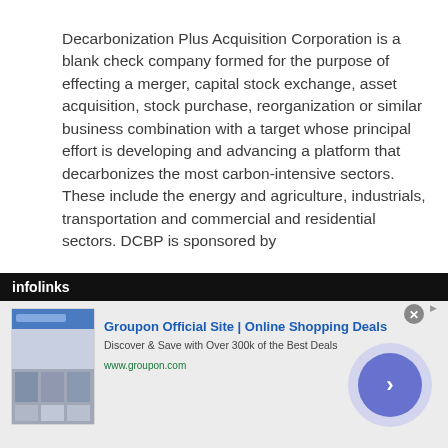Decarbonization Plus Acquisition Corporation is a blank check company formed for the purpose of effecting a merger, capital stock exchange, asset acquisition, stock purchase, reorganization or similar business combination with a target whose principal effort is developing and advancing a platform that decarbonizes the most carbon-intensive sectors. These include the energy and agriculture, industrials, transportation and commercial and residential sectors. DCBP is sponsored by
[Figure (screenshot): Infolinks advertisement bar showing Groupon Official Site online shopping deals ad with thumbnail images and navigation arrow]